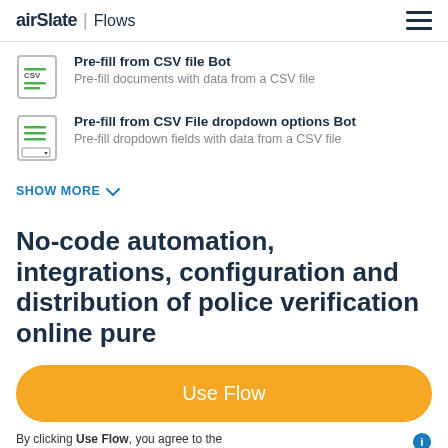airSlate | Flows
Pre-fill from CSV file Bot — Pre-fill documents with data from a CSV file
Pre-fill from CSV File dropdown options Bot — Pre-fill dropdown fields with data from a CSV file
SHOW MORE
No-code automation, integrations, configuration and distribution of police verification online pure
Use Flow
By clicking Use Flow, you agree to the Terms of Service and Privacy Policy